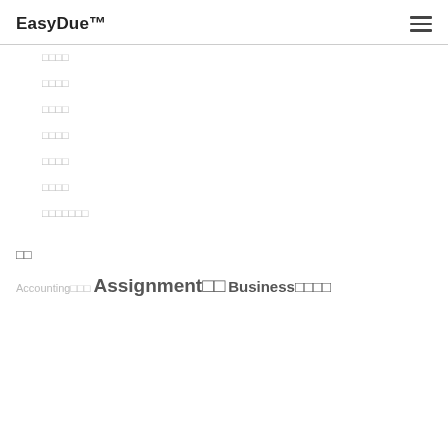EasyDue™
□□□□
□□□□
□□□□
□□□□
□□□□
□□□□
□□□□□□□
□□
Accounting□□□ Assignment□□ Business□□□□